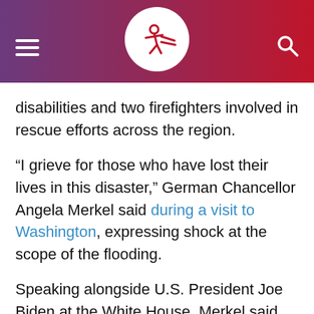[Navigation bar with hamburger menu, logo, and search icon]
disabilities and two firefighters involved in rescue efforts across the region.
“I grieve for those who have lost their lives in this disaster,” German Chancellor Angela Merkel said during a visit to Washington, expressing shock at the scope of the flooding.
Speaking alongside U.S. President Joe Biden at the White House, Merkel said her thoughts were with all those who had lost loved ones or were still searching for them.